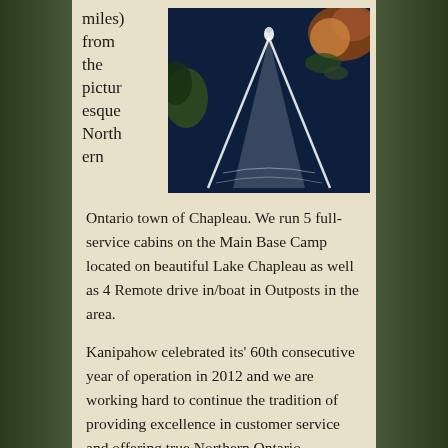miles) from the picturesque Northern
[Figure (photo): Aerial view of a motorboat leaving a white wake trail on dark blue water, surrounded by autumn-colored trees along the shoreline]
Ontario town of Chapleau. We run 5 full-service cabins on the Main Base Camp located on beautiful Lake Chapleau as well as 4 Remote drive in/boat in Outposts in the area.
Kanipahow celebrated its' 60th consecutive year of operation in 2012 and we are working hard to continue the tradition of providing excellence in customer service and offering true Northern Ontario Wilderness Fishing and